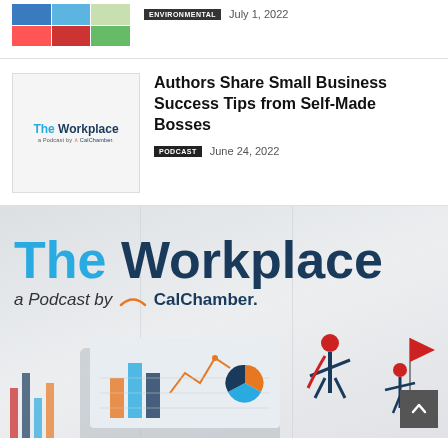[Figure (photo): Colorful grid thumbnail with blue, light blue, green, and red sections]
ENVIRONMENTAL   July 1, 2022
[Figure (logo): The Workplace a Podcast by CalChamber thumbnail logo]
Authors Share Small Business Success Tips from Self-Made Bosses
PODCAST   June 24, 2022
[Figure (illustration): Large banner: The Workplace a Podcast by CalChamber with business analytics illustration showing person celebrating with charts]